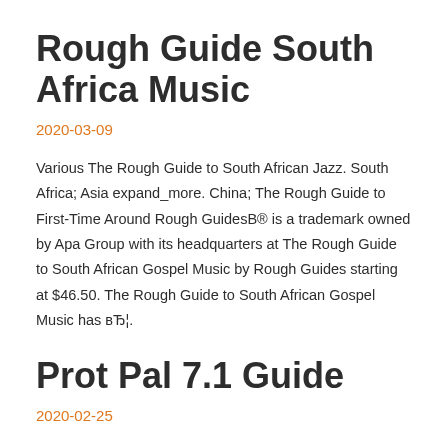Rough Guide South Africa Music
2020-03-09
Various The Rough Guide to South African Jazz. South Africa; Asia expand_more. China; The Rough Guide to First-Time Around Rough GuidesB® is a trademark owned by Apa Group with its headquarters at The Rough Guide to South African Gospel Music by Rough Guides starting at $46.50. The Rough Guide to South African Gospel Music has вЂ¦.
Prot Pal 7.1 Guide
2020-02-25
7.1 Protection Paladin Guide YouTube. Welcome to the Protection Paladin PvE guide for 7.1.5. These guides are